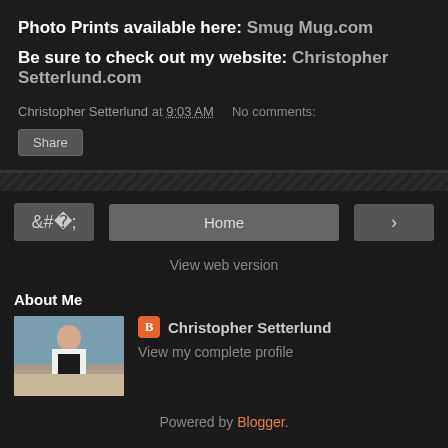Photo Prints available here: Smug Mug.com
Be sure to check out my website: Christopher Setterlund.com
Christopher Setterlund at 9:03 AM   No comments:
Share
Home
View web version
About Me
[Figure (photo): Profile photo of Christopher Setterlund standing on a beach]
Christopher Setterlund
View my complete profile
Powered by Blogger.